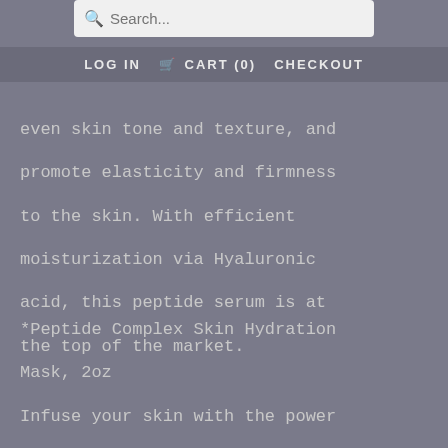Search... | LOG IN | CART (0) | CHECKOUT
even skin tone and texture, and promote elasticity and firmness to the skin. With efficient moisturization via Hyaluronic acid, this peptide serum is at the top of the market.
*Peptide Complex Skin Hydration Mask, 2oz
Infuse your skin with the power of Peptides and lasting hydration with this lightweight Gel Mask. The peptide complex and amino